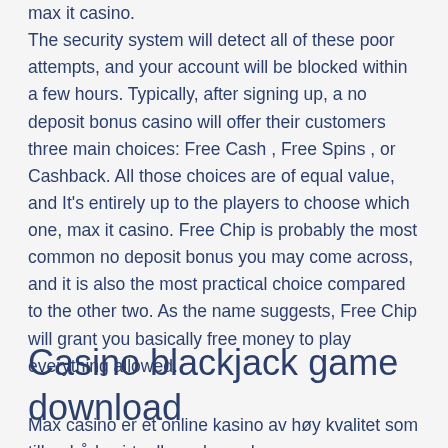max it casino. The security system will detect all of these poor attempts, and your account will be blocked within a few hours. Typically, after signing up, a no deposit bonus casino will offer their customers three main choices: Free Cash , Free Spins , or Cashback. All those choices are of equal value, and It's entirely up to the players to choose which one, max it casino. Free Chip is probably the most common no deposit bonus you may come across, and it is also the most practical choice compared to the other two. As the name suggests, Free Chip will grant you basically free money to play everything allowed.
Casino blackjack game download
Max casino er et online kasino av høy kvalitet som tilbyr både virtuelle og levende